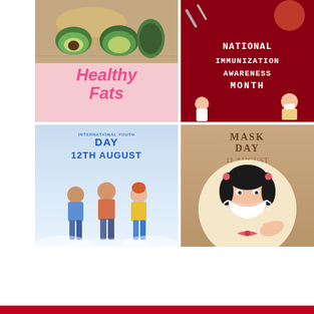[Figure (illustration): Healthy Fats promotional card with avocado photo in a bowl and text 'Healthy Fats' in pink italic font]
[Figure (illustration): National Immunization Awareness Month card with dark red background, white block text, and cartoon medical figures]
[Figure (illustration): International Youth Day card dated 12th August with cartoon illustration of three young people standing together]
[Figure (illustration): Mask Day card dated 11 August with cartoon illustration of a girl wearing a face mask on a beige circular background]